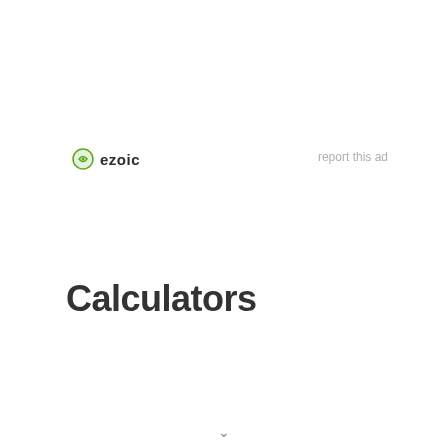[Figure (logo): Ezoic logo with green circular icon and bold 'ezoic' text]
report this ad
Calculators